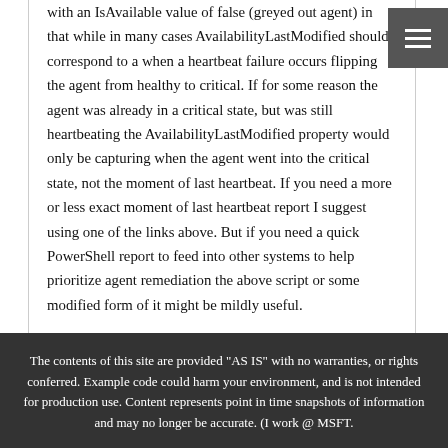with an IsAvailable value of false (greyed out agent) in that while in many cases AvailabilityLastModified should correspond to a when a heartbeat failure occurs flipping the agent from healthy to critical. If for some reason the agent was already in a critical state, but was still heartbeating the AvailabilityLastModified property would only be capturing when the agent went into the critical state, not the moment of last heartbeat. If you need a more or less exact moment of last heartbeat report I suggest using one of the links above. But if you need a quick PowerShell report to feed into other systems to help prioritize agent remediation the above script or some modified form of it might be mildly useful.
The contents of this site are provided "AS IS" with no warranties, or rights conferred. Example code could harm your environment, and is not intended for production use. Content represents point in time snapshots of information and may no longer be accurate. (I work @ MSFT.